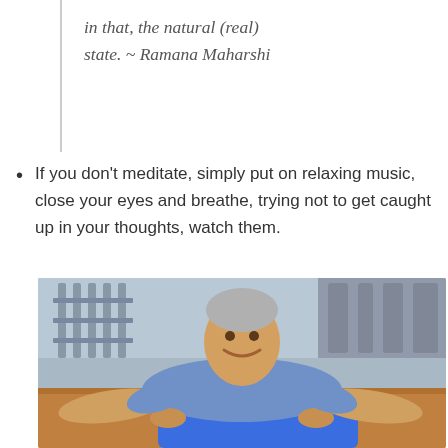in that, the natural (real) state. ~ Ramana Maharshi
If you don't meditate, simply put on relaxing music, close your eyes and breathe, trying not to get caught up in your thoughts, watch them.
[Figure (photo): A smiling middle-aged man doing a push-up on a blue exercise mat in a gym, wearing a light blue t-shirt.]